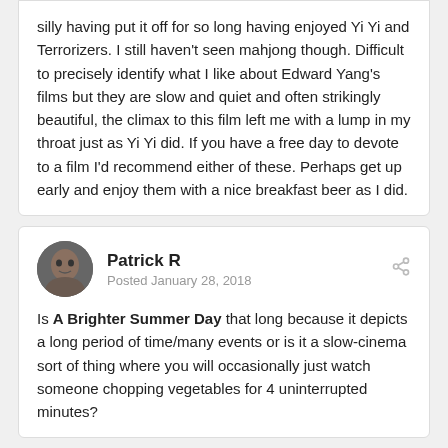silly having put it off for so long having enjoyed Yi Yi and Terrorizers. I still haven't seen mahjong though. Difficult to precisely identify what I like about Edward Yang's films but they are slow and quiet and often strikingly beautiful, the climax to this film left me with a lump in my throat just as Yi Yi did. If you have a free day to devote to a film I'd recommend either of these. Perhaps get up early and enjoy them with a nice breakfast beer as I did.
Patrick R
Posted January 28, 2018
Is A Brighter Summer Day that long because it depicts a long period of time/many events or is it a slow-cinema sort of thing where you will occasionally just watch someone chopping vegetables for 4 uninterrupted minutes?
Woodfella
Posted January 28, 2018